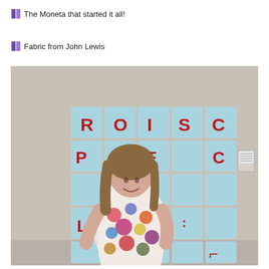🟪 The Moneta that started it all!
🟪 Fabric from John Lewis
[Figure (photo): A woman in a colorful polka-dot dress standing and smiling in front of a wall display of blue and white tiles arranged in a grid, with large red letters spelling out a word across them. On the far right wall, a small framed item is visible.]